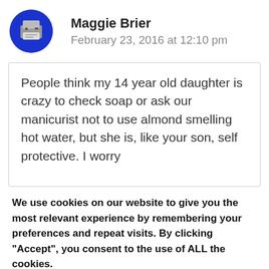[Figure (illustration): Circular avatar icon with dark blue background and a gray pixelated printer/robot icon]
Maggie Brier
February 23, 2016 at 12:10 pm
People think my 14 year old daughter is crazy to check soap or ask our manicurist not to use almond smelling hot water, but she is, like your son, self protective. I worry
We use cookies on our website to give you the most relevant experience by remembering your preferences and repeat visits. By clicking “Accept”, you consent to the use of ALL the cookies.
Do not sell my personal information.